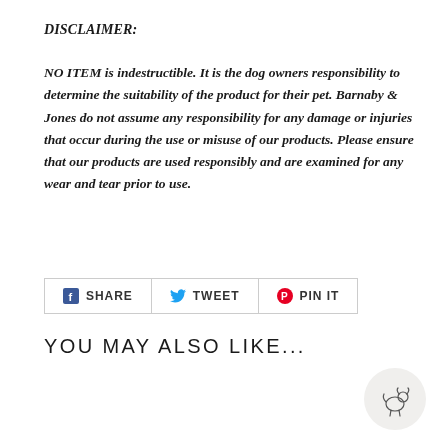DISCLAIMER:
NO ITEM is indestructible. It is the dog owners responsibility to determine the suitability of the product for their pet. Barnaby & Jones do not assume any responsibility for any damage or injuries that occur during the use or misuse of our products. Please ensure that our products are used responsibly and are examined for any wear and tear prior to use.
[Figure (infographic): Social sharing buttons: Facebook Share, Twitter Tweet, Pinterest Pin It]
YOU MAY ALSO LIKE...
[Figure (logo): Barnaby & Jones dog logo in a light grey circle]